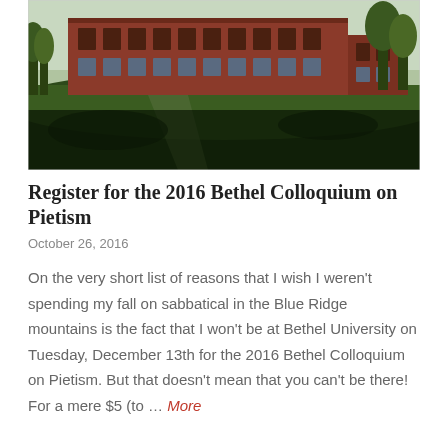[Figure (photo): Aerial/ground-level photograph of a red brick university building (Bethel University campus) with green lawn in the foreground and trees in the background.]
Register for the 2016 Bethel Colloquium on Pietism
October 26, 2016
On the very short list of reasons that I wish I weren't spending my fall on sabbatical in the Blue Ridge mountains is the fact that I won't be at Bethel University on Tuesday, December 13th for the 2016 Bethel Colloquium on Pietism. But that doesn't mean that you can't be there! For a mere $5 (to … More